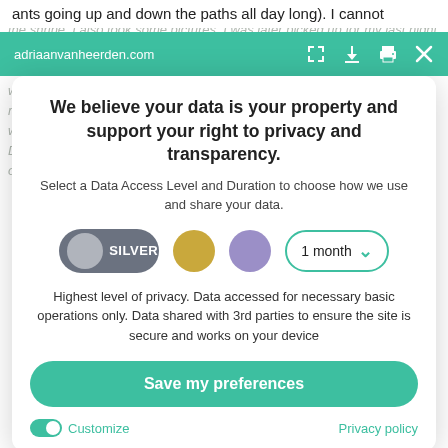ants going up and down the paths all day long). I cannot
adriaanvanheerden.com
We believe your data is your property and support your right to privacy and transparency.
Select a Data Access Level and Duration to choose how we use and share your data.
[Figure (screenshot): Privacy controls row with silver toggle labeled SILVER, a gold circle, a purple circle, and a dropdown selector showing '1 month']
Highest level of privacy. Data accessed for necessary basic operations only. Data shared with 3rd parties to ensure the site is secure and works on your device
Save my preferences
Customize
Privacy policy